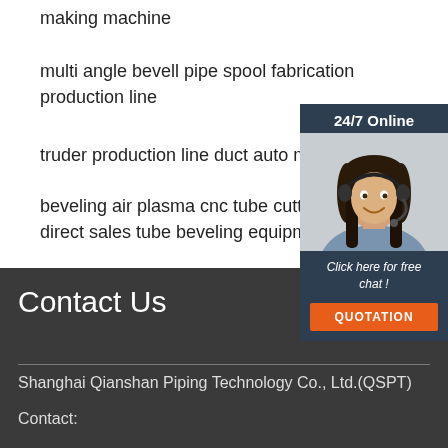making machine
multi angle bevell pipe spool fabrication production line
truder production line duct auto mak
beveling air plasma cnc tube cutter m direct sales tube beveling equipmen
[Figure (photo): Chat widget showing a woman with headset and 24/7 Online label, Click here for free chat text, and a QUOTATION button]
Contact Us
Shanghai Qianshan Piping Technology Co., Ltd.(QSPT)
Contact: